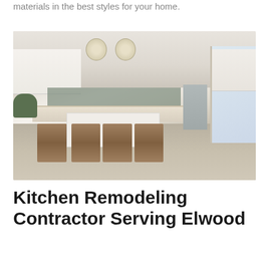materials in the best styles for your home.
[Figure (photo): Interior photo of a modern kitchen remodel featuring white cabinets, a large island with bar stools, pendant lighting, stainless steel appliances, dark backsplash tiles, and hardwood floors.]
Kitchen Remodeling Contractor Serving Elwood